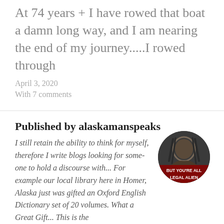At 74 years + I have rowed that boat a damn long way, and I am nearing the end of my journey.....I rowed through
April 3, 2020
With 7 comments
Published by alaskamanspeaks
I still retain the ability to think for myself, therefore I write blogs looking for some-one to hold a discourse with... For example our local library here in Homer, Alaska just was gifted an Oxford English Dictionary set of 20 volumes. What a Great Gift... This is the
[Figure (photo): Circular avatar image of a person with text overlay reading 'BUT YOU'RE ALL LEGAL ALIEN']